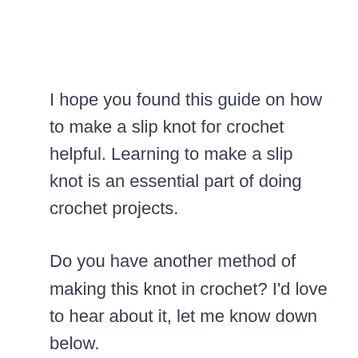I hope you found this guide on how to make a slip knot for crochet helpful. Learning to make a slip knot is an essential part of doing crochet projects.
Do you have another method of making this knot in crochet? I'd love to hear about it, let me know down below.